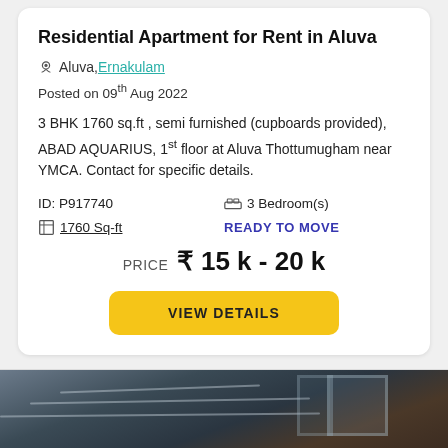Residential Apartment for Rent in Aluva
Aluva, Ernakulam
Posted on 09th Aug 2022
3 BHK 1760 sq.ft , semi furnished (cupboards provided), ABAD AQUARIUS, 1st floor at Aluva Thottumugham near YMCA. Contact for specific details.
ID: P917740
3 Bedroom(s)
1760 Sq-ft
READY TO MOVE
PRICE ₹ 15 k - 20 k
VIEW DETAILS
[Figure (photo): Interior room photo showing ceiling with window frame visible, dark ambient lighting]